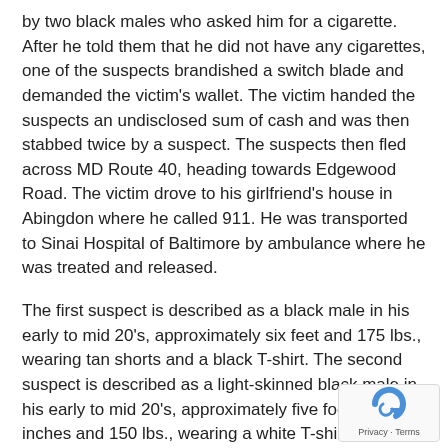by two black males who asked him for a cigarette. After he told them that he did not have any cigarettes, one of the suspects brandished a switch blade and demanded the victim's wallet. The victim handed the suspects an undisclosed sum of cash and was then stabbed twice by a suspect. The suspects then fled across MD Route 40, heading towards Edgewood Road. The victim drove to his girlfriend's house in Abingdon where he called 911. He was transported to Sinai Hospital of Baltimore by ambulance where he was treated and released.
The first suspect is described as a black male in his early to mid 20's, approximately six feet and 175 lbs., wearing tan shorts and a black T-shirt. The second suspect is described as a light-skinned black male in his early to mid 20's, approximately five foot ten inches and 150 lbs., wearing a white T-shirt and light colored denim shorts.
The investigation is continuing.
[Figure (logo): reCAPTCHA badge with Privacy and Terms links]